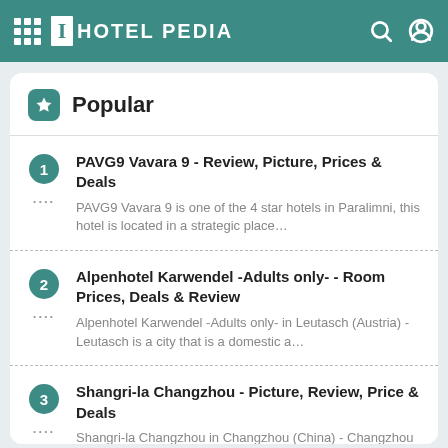HOTEL PEDIA
Popular
PAVG9 Vavara 9 - Review, Picture, Prices & Deals
PAVG9 Vavara 9 is one of the 4 star hotels in Paralimni, this hotel is located in a strategic place…
Alpenhotel Karwendel -Adults only- - Room Prices, Deals & Review
Alpenhotel Karwendel -Adults only- in Leutasch (Austria) - Leutasch is a city that is a domestic a…
Shangri-la Changzhou - Picture, Review, Price & Deals
Shangri-la Changzhou in Changzhou (China) - Changzhou is a city that is a domestic and foreign tou…